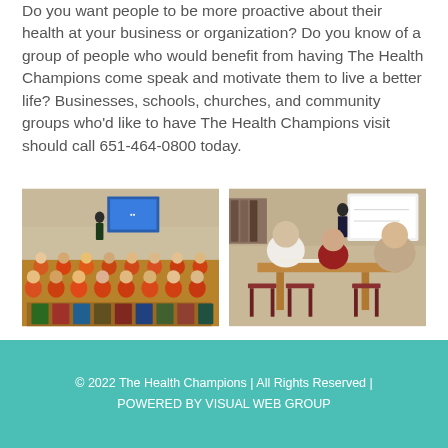Do you want people to be more proactive about their health at your business or organization? Do you know of a group of people who would benefit from having The Health Champions come speak and motivate them to live a better life? Businesses, schools, churches, and community groups who'd like to have The Health Champions visit should call 651-464-0800 today.
[Figure (photo): A group of children in orange shirts seated in rows watching a presenter at the front of a room with a projection screen showing a blue slide.]
[Figure (photo): Adults seated at tables in a classroom setting watching a presenter standing next to a whiteboard.]
© 2022 The Health Champions | All Rights Reserved | POWERED BY VISUAL WEB GROUP